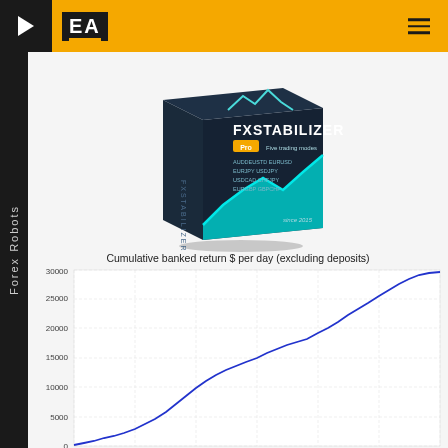EA | Forex Robots
[Figure (photo): FXStabilizer Pro product box with dark blue and teal design, mountain chart logo, currency pairs listed: EURUSD, EURUPY, USDUSD, USDCAD, CHFJPY, EURGBP, GBPCHF. Text: since 2015. Pro - Five trading modes.]
Cumulative banked return $ per day (excluding deposits)
[Figure (line-chart): Cumulative banked return $ per day (excluding deposits)]